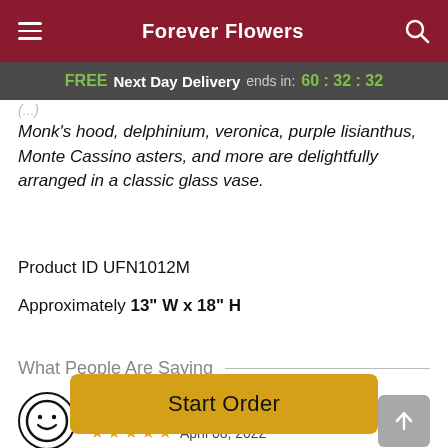Forever Flowers
FREE Next Day Delivery ends in: 60:32:32
Monk's hood, delphinium, veronica, purple lisianthus, Monte Cassino asters, and more are delightfully arranged in a classic glass vase.
Product ID UFN1012M
Approximately 13" W x 18" H
What People Are Saying
Lynda — ★★★★★ — April 08, 2022